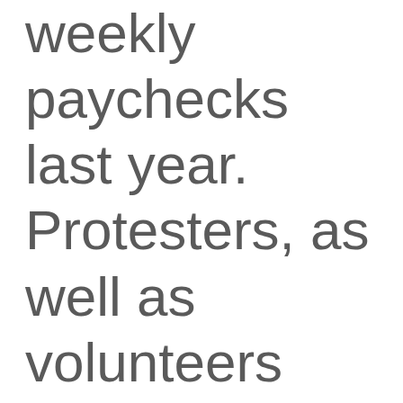weekly paychecks last year. Protesters, as well as volunteers trying to help, found themselves branded as troublemakers